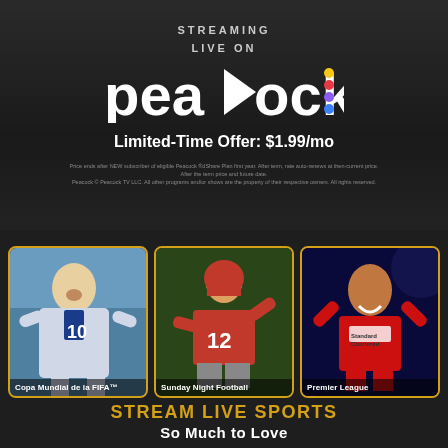STREAMING
LIVE ON
[Figure (logo): Peacock streaming service logo with play triangle and colorful dots]
Limited-Time Offer: $1.99/mo
Price ends after NEW subscriber of eligible Peacock ¤dShare Plan first year. After term, rate auto-renews at then-current price. Peacock © Peacock TV LLC. All other programs and/or shows are the property of their respective owners. All rights reserved.
[Figure (photo): Soccer player in Argentina #10 jersey celebrating - Copa Mundial de la FIFA]
[Figure (photo): NFL quarterback in Tampa Bay Buccaneers #12 jersey - Sunday Night Football]
[Figure (photo): Soccer player in Liverpool red jersey smiling - Premier League]
STREAM LIVE SPORTS
So Much to Love